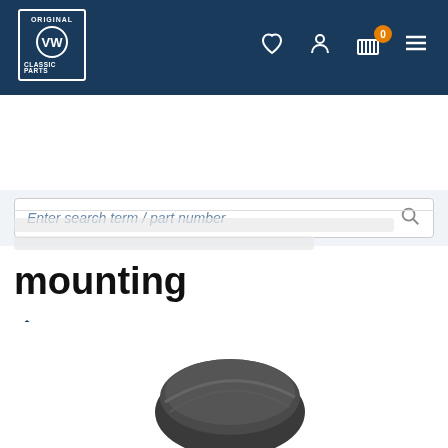ORIGINAL VW CLASSIC PARTS — navigation header with wishlist, account, cart (0), and menu icons
Enter search term / part number
🏠 > mounting
mounting
[Figure (photo): Product photo: a rubber mounting/bushing part, dark grey/black, partially visible at bottom of page. Small thumbnail image box on left side. Trusted Shops guarantee badge (circular, gold/blue) with 4.87 star rating shown at bottom right.]